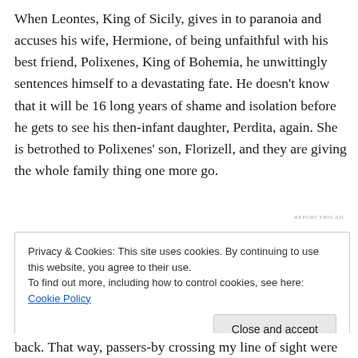When Leontes, King of Sicily, gives in to paranoia and accuses his wife, Hermione, of being unfaithful with his best friend, Polixenes, King of Bohemia, he unwittingly sentences himself to a devastating fate. He doesn't know that it will be 16 long years of shame and isolation before he gets to see his then-infant daughter, Perdita, again. She is betrothed to Polixenes' son, Florizell, and they are giving the whole family thing one more go.
REPORT THIS AD
Privacy & Cookies: This site uses cookies. By continuing to use this website, you agree to their use.
To find out more, including how to control cookies, see here: Cookie Policy
Close and accept
back. That way, passers-by crossing my line of sight were